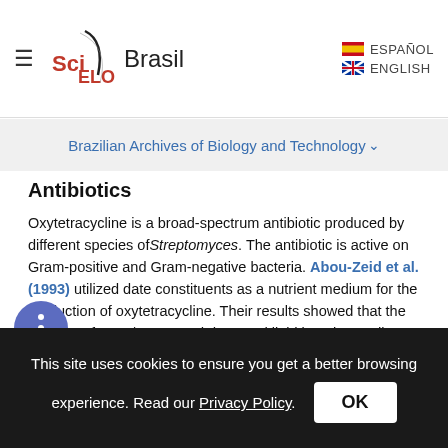SciELO Brasil | ESPAÑOL | ENGLISH
Brazilian Archives of Biology and Technology
Antibiotics
Oxytetracycline is a broad-spectrum antibiotic produced by different species of Streptomyces. The antibiotic is active on Gram-positive and Gram-negative bacteria. Abou-Zeid et al. (1993) utilized date constituents as a nutrient medium for the production of oxytetracycline. Their results showed that the addition of 1.0 g/L urea and dateseed lipid into the medium increased the efficacy for antibiotic formation. When MgSO4, MnSO4, FeSO4 and ZnSO4 components of the medium were
This site uses cookies to ensure you get a better browsing experience. Read our Privacy Policy.